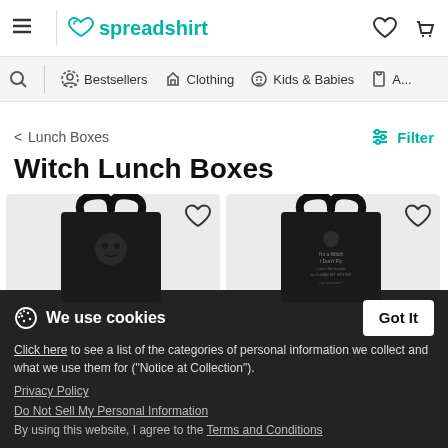spreadshirt — hamburger menu, brand logo, wishlist icon, cart icon
Search | Bestsellers | Clothing | Kids & Babies | A...
< Lunch Boxes
Filter
Witch Lunch Boxes
[Figure (photo): Two black tote-style lunch boxes shown side by side on a light grey background, each with heart/wishlist icon in top right corner.]
We use cookies
Click here to see a list of the categories of personal information we collect and what we use them for ("Notice at Collection").
Privacy Policy
Do Not Sell My Personal Information
By using this website, I agree to the Terms and Conditions